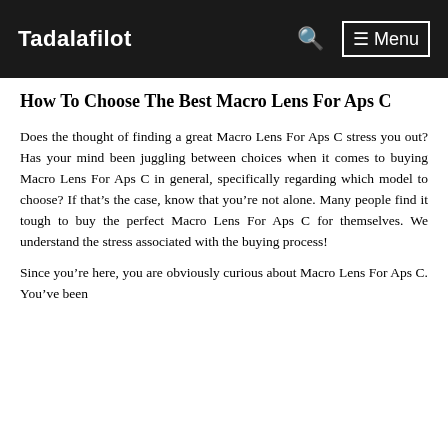Tadalafilot   🔍   ☰ Menu
How To Choose The Best Macro Lens For Aps C
Does the thought of finding a great Macro Lens For Aps C stress you out? Has your mind been juggling between choices when it comes to buying Macro Lens For Aps C in general, specifically regarding which model to choose? If that's the case, know that you're not alone. Many people find it tough to buy the perfect Macro Lens For Aps C for themselves. We understand the stress associated with the buying process!
Since you're here, you are obviously curious about Macro Lens For Aps C. You've been